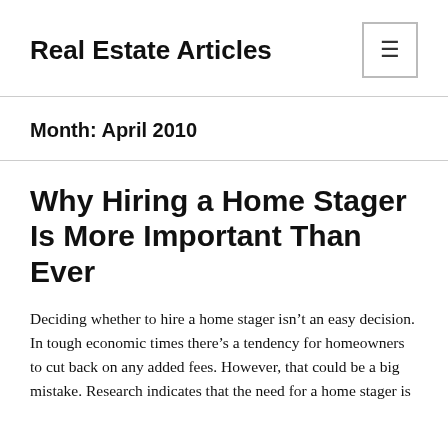Real Estate Articles
Month: April 2010
Why Hiring a Home Stager Is More Important Than Ever
Deciding whether to hire a home stager isn't an easy decision. In tough economic times there's a tendency for homeowners to cut back on any added fees. However, that could be a big mistake. Research indicates that the need for a home stager is